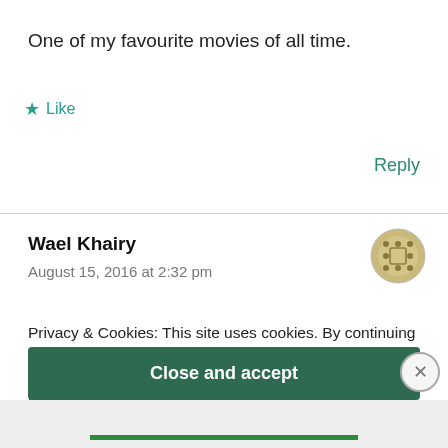One of my favourite movies of all time.
★ Like
Reply
Wael Khairy
August 15, 2016 at 2:32 pm
[Figure (illustration): User avatar: circular icon with dotted/beaded pattern in olive/gold color]
Privacy & Cookies: This site uses cookies. By continuing to use this website, you agree to their use.
To find out more, including how to control cookies, see here:
Cookie Policy
Close and accept